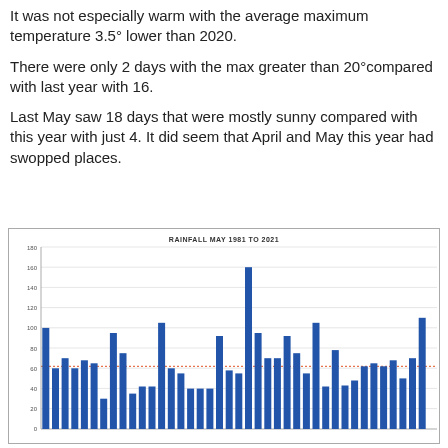It was not especially warm with the average maximum temperature 3.5° lower than 2020.
There were only 2 days with the max greater than 20°compared with last year with 16.
Last May saw 18 days that were mostly sunny compared with this year with just 4. It did seem that April and May this year had swopped places.
[Figure (bar-chart): RAINFALL MAY 1981 TO 2021]